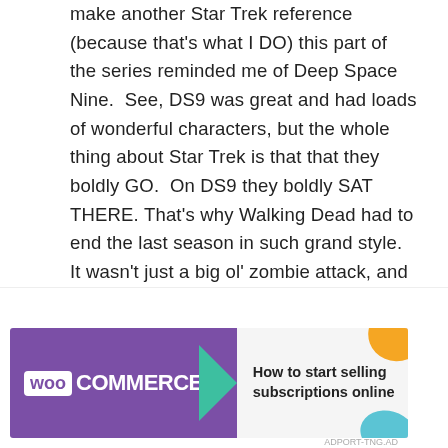make another Star Trek reference (because that's what I DO) this part of the series reminded me of Deep Space Nine.  See, DS9 was great and had loads of wonderful characters, but the whole thing about Star Trek is that that they boldly GO.  On DS9 they boldly SAT THERE. That's why Walking Dead had to end the last season in such grand style.  It wasn't just a big ol' zombie attack, and it wasn't just a chance to move the story and characters literally and figuratively forward:  it was a metaphor.  Two main characters died, and the good ol' (somewhat) reliable RV was abandoned to the walker horde.  The characters are once again in the wilderness, relying on their skills and one another to survive
Advertisements
[Figure (other): WooCommerce advertisement banner with purple background, teal arrow, and text 'How to start selling subscriptions online' with decorative orange and blue shapes on the right side.]